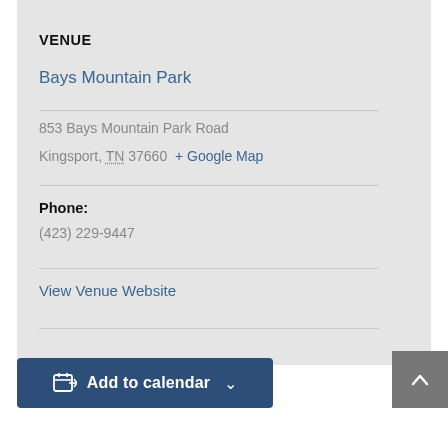[Figure (map): Partial street map showing road intersections near Bays Mountain Park]
VENUE
Bays Mountain Park
853 Bays Mountain Park Road
Kingsport, TN 37660 + Google Map
Phone:
(423) 229-9447
View Venue Website
Add to calendar